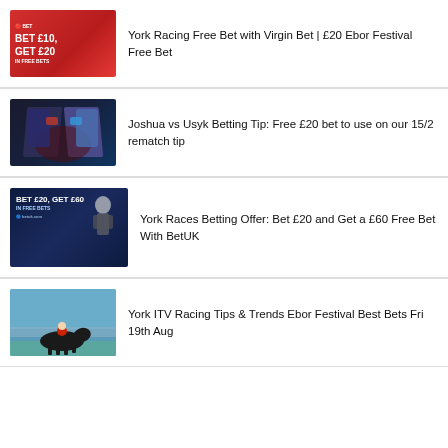York Racing Free Bet with Virgin Bet | £20 Ebor Festival Free Bet
Joshua vs Usyk Betting Tip: Free £20 bet to use on our 15/2 rematch tip
York Races Betting Offer: Bet £20 and Get a £60 Free Bet With BetUK
York ITV Racing Tips & Trends Ebor Festival Best Bets Fri 19th Aug